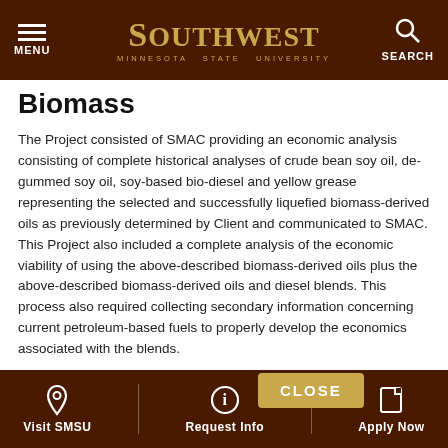MENU | SOUTHWEST MINNESOTA STATE UNIVERSITY | SEARCH
Biomass
The Project consisted of SMAC providing an economic analysis consisting of complete historical analyses of crude bean soy oil, de-gummed soy oil, soy-based bio-diesel and yellow grease representing the selected and successfully liquefied biomass-derived oils as previously determined by Client and communicated to SMAC. This Project also included a complete analysis of the economic viability of using the above-described biomass-derived oils plus the above-described biomass-derived oils and diesel blends. This process also required collecting secondary information concerning current petroleum-based fuels to properly develop the economics associated with the blends.
Executive Summ
Visit SMSU | Request Info | Apply Now